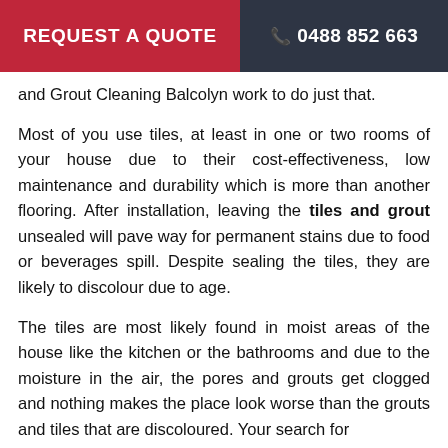REQUEST A QUOTE   📞 0488 852 663
and Grout Cleaning Balcolyn work to do just that.
Most of you use tiles, at least in one or two rooms of your house due to their cost-effectiveness, low maintenance and durability which is more than another flooring. After installation, leaving the tiles and grout unsealed will pave way for permanent stains due to food or beverages spill. Despite sealing the tiles, they are likely to discolour due to age.
The tiles are most likely found in moist areas of the house like the kitchen or the bathrooms and due to the moisture in the air, the pores and grouts get clogged and nothing makes the place look worse than the grouts and tiles that are discoloured. Your search for